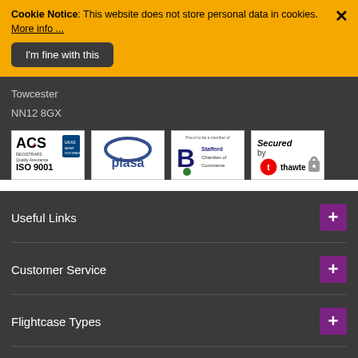Cookie Notice: This website does not store personal data in cookies. More info ...
I'm fine with this
Towcester
NN12 8GX
[Figure (logo): ACS Registrars ISO 9001 UKAS logo]
[Figure (logo): plasa logo]
[Figure (logo): Stafford Chamber of Commerce logo]
[Figure (logo): Secured by thawte logo]
Useful Links
Customer Service
Flightcase Types
Payment Methods